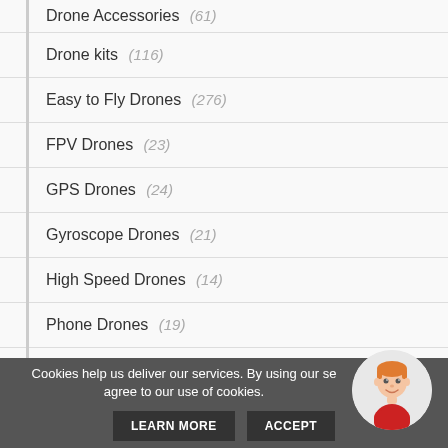Drone Accessories (61)
Drone kits (116)
Easy to Fly Drones (276)
FPV Drones (23)
GPS Drones (24)
Gyroscope Drones (21)
High Speed Drones (14)
Phone Drones (19)
Large Drones (78)
Mini Drones (57)
Cookies help us deliver our services. By using our services, you agree to our use of cookies.
LEARN MORE | ACCEPT